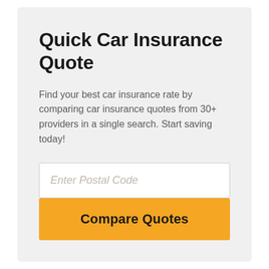Quick Car Insurance Quote
Find your best car insurance rate by comparing car insurance quotes from 30+ providers in a single search. Start saving today!
[Figure (other): Text input field with placeholder text 'Enter Postal Code']
Compare Quotes